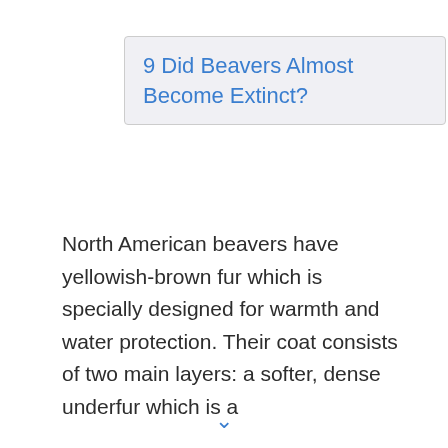9 Did Beavers Almost Become Extinct?
North American beavers have yellowish-brown fur which is specially designed for warmth and water protection. Their coat consists of two main layers: a softer, dense underfur which is a